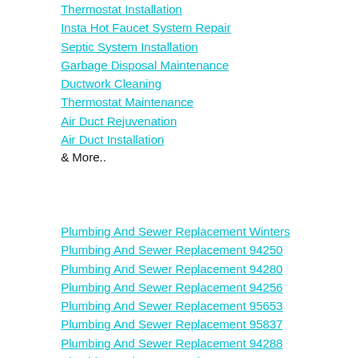Thermostat Installation
Insta Hot Faucet System Repair
Septic System Installation
Garbage Disposal Maintenance
Ductwork Cleaning
Thermostat Maintenance
Air Duct Rejuvenation
Air Duct Installation
& More..
Plumbing And Sewer Replacement Winters
Plumbing And Sewer Replacement 94250
Plumbing And Sewer Replacement 94280
Plumbing And Sewer Replacement 94256
Plumbing And Sewer Replacement 95653
Plumbing And Sewer Replacement 95837
Plumbing And Sewer Replacement 94288
Plumbing And Sewer Replacement 94268
Plumbing And Sewer Replacement 95835